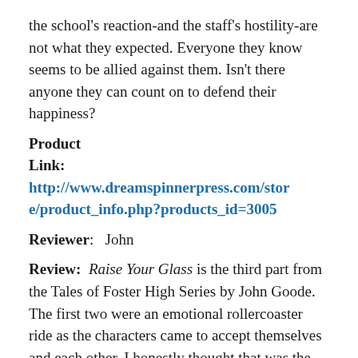the school's reaction–and the staff's hostility–are not what they expected. Everyone they know seems to be allied against them. Isn't there anyone they can count on to defend their happiness?
Product Link: http://www.dreamspinnerpress.com/store/product_info.php?products_id=3005
Reviewer: John
Review: Raise Your Glass is the third part from the Tales of Foster High Series by John Goode. The first two were an emotional rollercoaster ride as the characters came to accept themselves and each other. I honestly thought that was the end of it, but John Goode proved me wrong with the latest installment of his series.